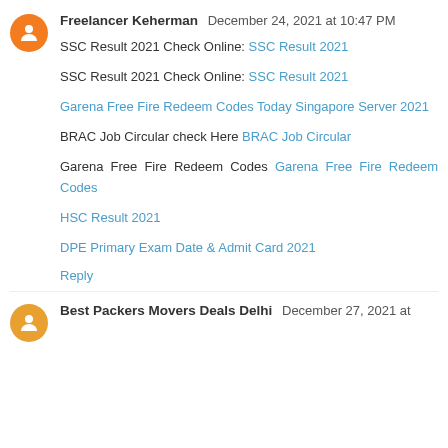Freelancer Keherman  December 24, 2021 at 10:47 PM
SSC Result 2021 Check Online: SSC Result 2021
SSC Result 2021 Check Online: SSC Result 2021
Garena Free Fire Redeem Codes Today Singapore Server 2021
BRAC Job Circular check Here BRAC Job Circular
Garena Free Fire Redeem Codes  Garena Free Fire Redeem Codes
HSC Result 2021
DPE Primary Exam Date & Admit Card 2021
Reply
Best Packers Movers Deals Delhi  December 27, 2021 at